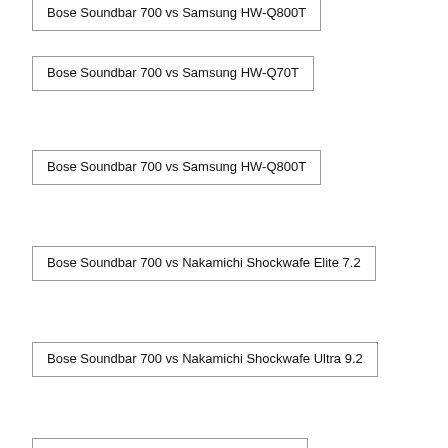Bose Soundbar 700 vs Samsung HW-Q800T
Bose Soundbar 700 vs Samsung HW-Q70T
Bose Soundbar 700 vs Samsung HW-Q800T
Bose Soundbar 700 vs Nakamichi Shockwafe Elite 7.2
Bose Soundbar 700 vs Nakamichi Shockwafe Ultra 9.2
Bose Soundbar 700 vs VIZIO SB36512-F6
Bose Soundbar 700 vs JBL Bar 5.1
Bose Soundbar 700 vs Yamaha MusicCast BAR 400
Bose Soundbar 700 vs Sony HT-ST5000
Bose Soundbar 700 vs Bose Soundbar 500
Bose Soundbar 700 vs Samsung HW-Q60T